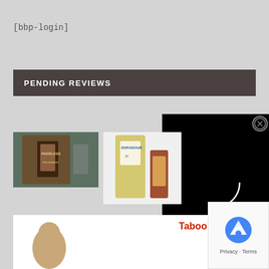[bbp-login]
PENDING REVIEWS
[Figure (photo): Photo of Peerless Rye Whiskey bottle in a box]
[Figure (photo): Photo of Edradour 10 year Scotch whisky bottle in yellow canister with another bottle]
[Figure (other): Black video/media panel with a white loading spinner arc and close button]
[Figure (other): Taboola advertisement bar with logo and reCAPTCHA badge showing Privacy and Terms text, and a person's head at bottom]